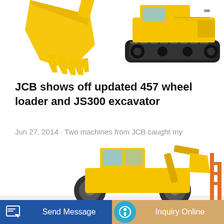[Figure (photo): Yellow JCB excavator with bucket visible at left and tracks at right, shown on white background, partially cropped at top of page]
JCB shows off updated 457 wheel loader and JS300 excavator
Jun 27, 2014 · Two machines from JCB caught my attention this week while touring its booth at this year's Hillhead quarry show in Buxton, England: the new ...
[Figure (other): Blue 'Learn More' button]
[Figure (photo): Yellow JCB wheel loader partially visible at bottom of page, with construction equipment in background]
Send Message    Inquiry Online